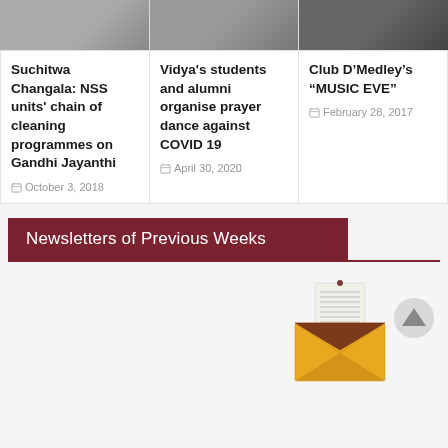[Figure (photo): Group photo for Suchitwa Changala NSS article]
[Figure (photo): Photo for Vidya's students and alumni prayer dance article]
[Figure (photo): Photo for Club D'Medley's MUSIC EVE article]
Suchitwa Changala: NSS units' chain of cleaning programmes on Gandhi Jayanthi
October 3, 2018
Vidya's students and alumni organise prayer dance against COVID 19
April 30, 2020
Club D'Medley's “MUSIC EVE”
February 28, 2017
Newsletters of Previous Weeks
[Figure (illustration): Envelope/newsletter illustration icon]
[Figure (other): Up arrow / back-to-top button]